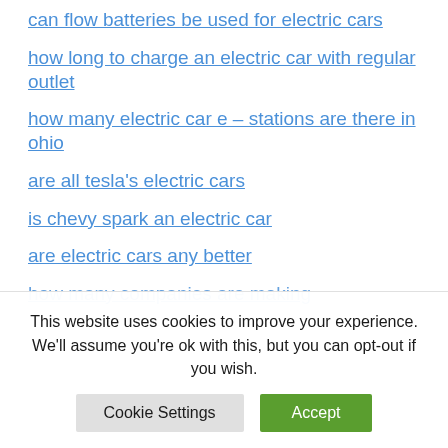can flow batteries be used for electric cars
how long to charge an electric car with regular outlet
how many electric car e – stations are there in ohio
are all tesla's electric cars
is chevy spark an electric car
are electric cars any better
how many companies are making
This website uses cookies to improve your experience. We'll assume you're ok with this, but you can opt-out if you wish.